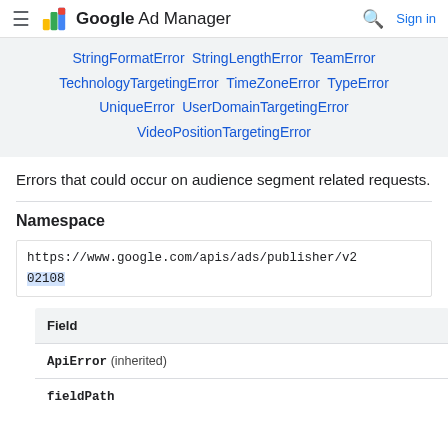Google Ad Manager — Sign in
StringFormatError StringLengthError TeamError TechnologyTargetingError TimeZoneError TypeError UniqueError UserDomainTargetingError VideoPositionTargetingError
Errors that could occur on audience segment related requests.
Namespace
https://www.google.com/apis/ads/publisher/v202108
| Field |
| --- |
| ApiError (inherited) |
| fieldPath |